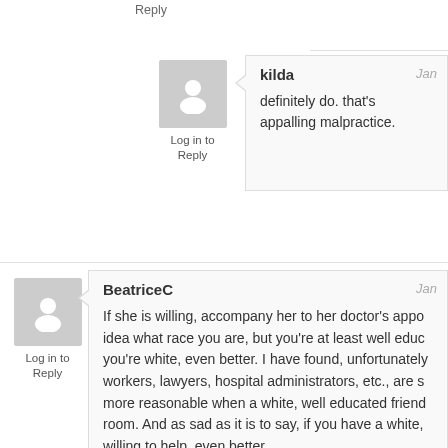Reply
kilda
definitely do. that's appalling malpractice.
Log in to
Reply
BeatriceC
If she is willing, accompany her to her doctor's appo... idea what race you are, but you're at least well educ... you're white, even better. I have found, unfortunately workers, lawyers, hospital administrators, etc., are s... more reasonable when a white, well educated friend... room. And as sad as it is to say, if you have a white, willing to help, even better.
Log in to
Reply
Who?
If that man has a well-groomed salt and pepper... patient watchfulness, even better. He need not s... like he's ready to pounce.
Log in to
Reply